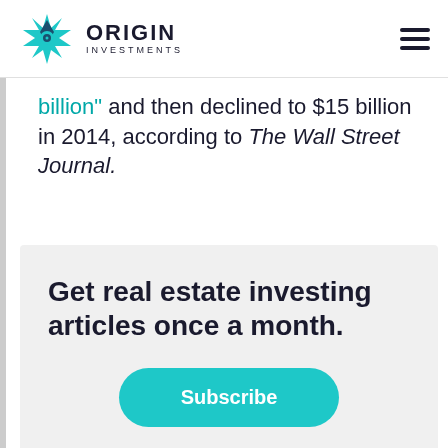[Figure (logo): Origin Investments logo with teal geometric star/compass icon and ORIGIN INVESTMENTS text]
billion" and then declined to $15 billion in 2014, according to The Wall Street Journal.
Get real estate investing articles once a month.
Subscribe